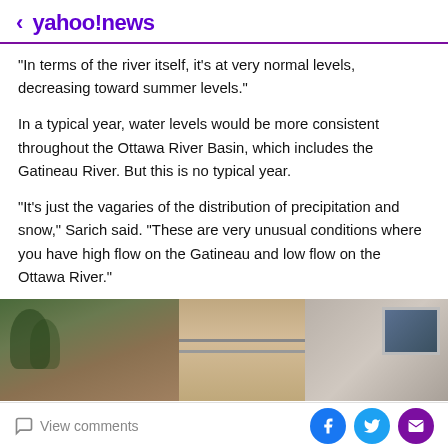< yahoo!news
"In terms of the river itself, it's at very normal levels, decreasing toward summer levels."
In a typical year, water levels would be more consistent throughout the Ottawa River Basin, which includes the Gatineau River. But this is no typical year.
"It's just the vagaries of the distribution of precipitation and snow," Sarich said. "These are very unusual conditions where you have high flow on the Gatineau and low flow on the Ottawa River."
[Figure (photo): Exterior photo showing trees and a stone building with a window]
View comments